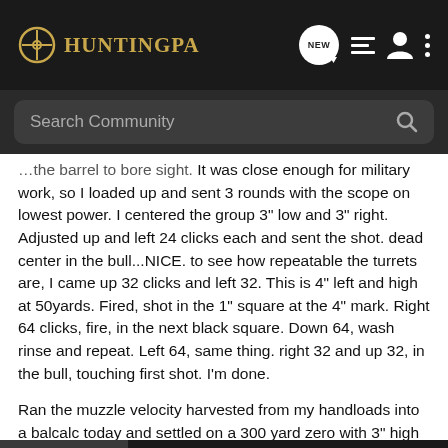HuntingPA
[Figure (screenshot): Search Community bar with dark background]
...the barrel to bore sight. It was close enough for military work, so I loaded up and sent 3 rounds with the scope on lowest power. I centered the group 3" low and 3" right. Adjusted up and left 24 clicks each and sent the shot. dead center in the bull...NICE. to see how repeatable the turrets are, I came up 32 clicks and left 32. This is 4" left and high at 50yards. Fired, shot in the 1" square at the 4" mark. Right 64 clicks, fire, in the next black square. Down 64, wash rinse and repeat. Left 64, same thing. right 32 and up 32, in the bull, touching first shot. I'm done.
Ran the muzzle velocity harvested from my handloads into a balcalc today and settled on a 300 yard zero with 3" high at 100. Co... Recente... ...ify after
[Figure (screenshot): Savage arms advertisement banner: THE BEST STORIES START WITH SAVAGE]